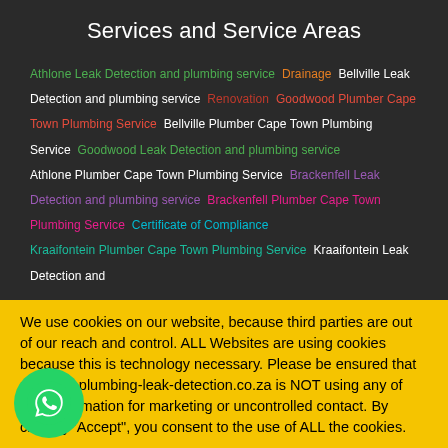Services and Service Areas
Athlone Leak Detection and plumbing service  Drainage  Bellville Leak Detection and plumbing service  Renovation  Goodwood Plumber Cape Town Plumbing Service  Bellville Plumber Cape Town Plumbing Service  Goodwood Leak Detection and plumbing service  Athlone Plumber Cape Town Plumbing Service  Brackenfell Leak Detection and plumbing service  Brackenfell Plumber Cape Town Plumbing Service  Certificate of Compliance  Kraaifontein Plumber Cape Town Plumbing Service  Kraaifontein Leak Detection and
We use cookies on our website, because third parties are out of our reach and control. ALL Websites are using cookies because this is technology necessary. Please be ensured that plumvac-plumbing-leak-detection.co.za is NOT using any of your information for marketing or uncontrolled contact. By clicking "Accept", you consent to the use of ALL the cookies.
Reject
Accept
Read More